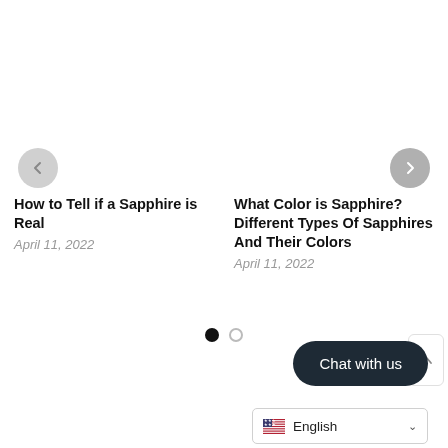[Figure (screenshot): Left navigation arrow button (chevron left) in a light gray circle]
[Figure (screenshot): Right navigation arrow button (chevron right) in a medium gray circle]
How to Tell if a Sapphire is Real
April 11, 2022
What Color is Sapphire? Different Types Of Sapphires And Their Colors
April 11, 2022
[Figure (other): Carousel pagination dots: one filled black dot and one empty circle]
Chat with us
[Figure (screenshot): Language selector showing English with US flag and dropdown chevron]